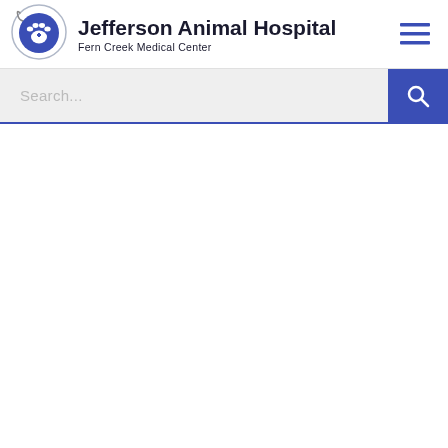[Figure (logo): Jefferson Animal Hospital Fern Creek Medical Center logo with paw print icon and stethoscope]
Jefferson Animal Hospital
Fern Creek Medical Center
[Figure (other): Hamburger menu icon (three horizontal blue lines)]
Search...